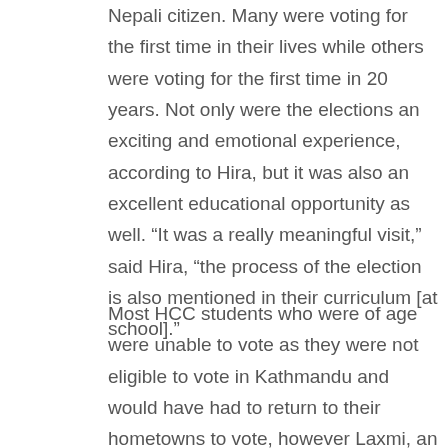Nepali citizen. Many were voting for the first time in their lives while others were voting for the first time in 20 years. Not only were the elections an exciting and emotional experience, according to Hira, but it was also an excellent educational opportunity as well. “It was a really meaningful visit,” said Hira, “the process of the election is also mentioned in their curriculum [at school].”
Most HCC students who were of age were unable to vote as they were not eligible to vote in Kathmandu and would have had to return to their hometowns to vote, however Laxmi, an HCC graduate, did, in fact, return to